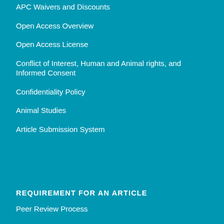APC Waivers and Discounts
Open Access Overview
Open Access License
Conflict of Interest, Human and Animal rights, and Informed Consent
Confidentiality Policy
Animal Studies
Article Submission System
REQUIREMENT FOR AN ARTICLE
Peer Review Process
Double Blind Review Process
Template of the Article